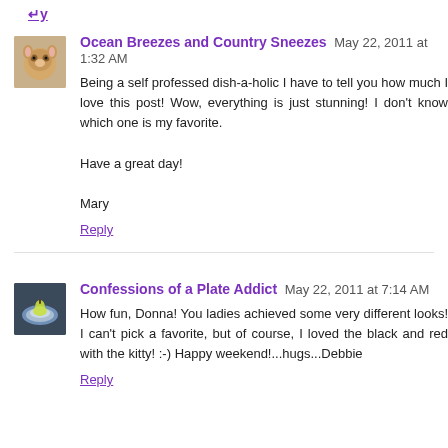Reply
Ocean Breezes and Country Sneezes May 22, 2011 at 1:32 AM
Being a self professed dish-a-holic I have to tell you how much I love this post! Wow, everything is just stunning! I don't know which one is my favorite.

Have a great day!

Mary
Reply
Confessions of a Plate Addict May 22, 2011 at 7:14 AM
How fun, Donna! You ladies achieved some very different looks! I can't pick a favorite, but of course, I loved the black and red with the kitty! :-) Happy weekend!...hugs...Debbie
Reply